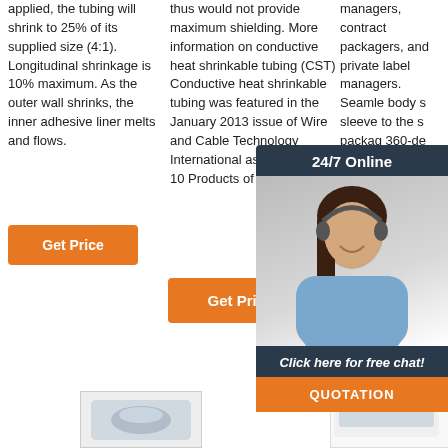applied, the tubing will shrink to 25% of its supplied size (4:1). Longitudinal shrinkage is 10% maximum. As the outer wall shrinks, the inner adhesive liner melts and flows.
thus would not provide maximum shielding. More information on conductive heat shrinkable tubing (CST) Conductive heat shrinkable tubing was featured in the January 2013 issue of Wire and Cable Technology International as one of the Top 10 Products of 2012.
managers, contract packagers, and private label managers. Seamlessly body sleeve to the packaging 360-degree product decoration can provide unmatch durability
[Figure (photo): Customer service representative with headset, chat widget overlay with '24/7 Online', 'Click here for free chat!', and QUOTATION button]
Get Price
Get Price
Get Price
[Figure (logo): TOP logo with orange dots arc above text]